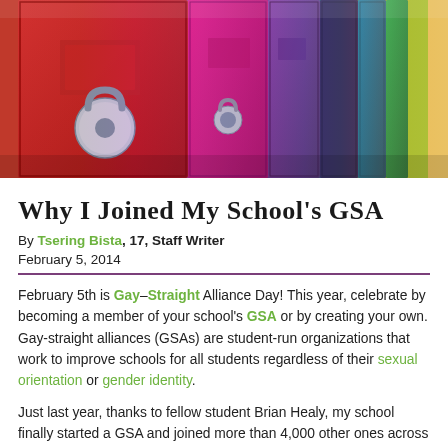[Figure (photo): Row of school lockers in rainbow colors — red, pink, purple, blue, green — photographed at an angle with a combination lock visible on the foreground red locker.]
Why I Joined My School's GSA
By Tsering Bista, 17, Staff Writer
February 5, 2014
February 5th is Gay–Straight Alliance Day! This year, celebrate by becoming a member of your school's GSA or by creating your own. Gay-straight alliances (GSAs) are student-run organizations that work to improve schools for all students regardless of their sexual orientation or gender identity.
Just last year, thanks to fellow student Brian Healy, my school finally started a GSA and joined more than 4,000 other ones across the